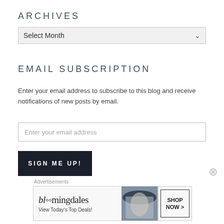ARCHIVES
[Figure (screenshot): Dropdown select box with 'Select Month' placeholder and a down-arrow chevron, light gray background]
EMAIL SUBSCRIPTION
Enter your email address to subscribe to this blog and receive notifications of new posts by email.
[Figure (screenshot): Text input field with placeholder 'Enter your email address']
[Figure (screenshot): Dark button labeled 'SIGN ME UP!']
Advertisements
[Figure (screenshot): Bloomingdale's banner advertisement with logo text 'bloomingdales', tagline 'View Today's Top Deals!', fashion image, and 'SHOP NOW >' button]